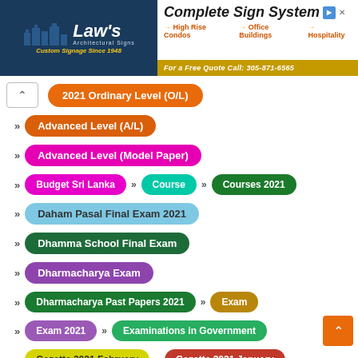[Figure (infographic): Law's Architectural Signs banner ad with Complete Sign System tagline, mentioning High Rise Condos, Office Buildings, Hospitality, and a free quote number 305-871-6565]
2021 Ordinary Level (O/L)
Advanced Level (A/L)
Advanced Level (Model Paper)
Budget Sri Lanka >> Course >> Courses 2021
Daham Pasal Final Exam 2021
Dhamma School Final Exam
Dharmacharya Exam
Dharmacharya Past Papers 2021 >> Exam
Exam 2021 >> Examinations in Government
Gazette 2021 February >> Gazette 2021 January